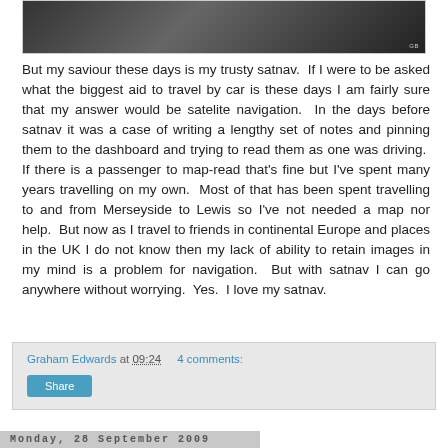[Figure (photo): Dark/grey photograph, partially visible at top of page with 'GB' label in bottom right corner]
But my saviour these days is my trusty satnav. If I were to be asked what the biggest aid to travel by car is these days I am fairly sure that my answer would be satelite navigation. In the days before satnav it was a case of writing a lengthy set of notes and pinning them to the dashboard and trying to read them as one was driving. If there is a passenger to map-read that's fine but I've spent many years travelling on my own. Most of that has been spent travelling to and from Merseyside to Lewis so I've not needed a map nor help. But now as I travel to friends in continental Europe and places in the UK I do not know then my lack of ability to retain images in my mind is a problem for navigation. But with satnav I can go anywhere without worrying. Yes. I love my satnav.
Graham Edwards at 09:24   4 comments:
Monday, 28 September 2009